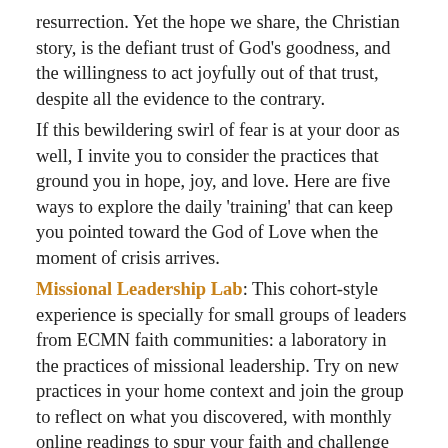resurrection. Yet the hope we share, the Christian story, is the defiant trust of God's goodness, and the willingness to act joyfully out of that trust, despite all the evidence to the contrary.
If this bewildering swirl of fear is at your door as well, I invite you to consider the practices that ground you in hope, joy, and love. Here are five ways to explore the daily 'training' that can keep you pointed toward the God of Love when the moment of crisis arrives.
Missional Leadership Lab: This cohort-style experience is specially for small groups of leaders from ECMN faith communities: a laboratory in the practices of missional leadership. Try on new practices in your home context and join the group to reflect on what you discovered, with monthly online readings to spur your faith and challenge your imagination about what the Holy Spirit is up to around us, and how the church can join in!
Jesus: The Person and the Way: This new course, offered through CDSP's Center for Anglican Learning and